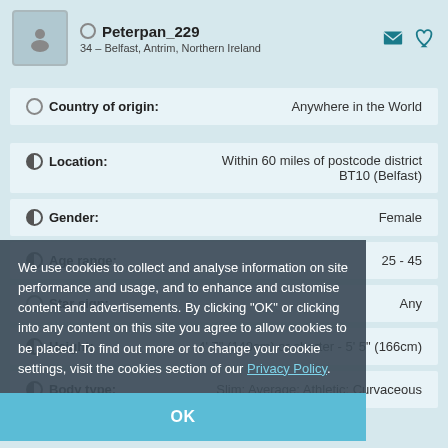Peterpan_229
34 – Belfast, Antrim, Northern Ireland
| Field | Value |
| --- | --- |
| Country of origin: | Anywhere in the World |
| Location: | Within 60 miles of postcode district BT10 (Belfast) |
| Gender: | Female |
| Age range: | 25 - 45 |
| Star sign: | Any |
| Height: | 4' 7" (140cm) or shorter - 5' 5" (166cm) |
| Body type: | Slim; Average; Athletic; Curvaceous |
We use cookies to collect and analyse information on site performance and usage, and to enhance and customise content and advertisements. By clicking "OK" or clicking into any content on this site you agree to allow cookies to be placed. To find out more or to change your cookie settings, visit the cookies section of our Privacy Policy.
OK